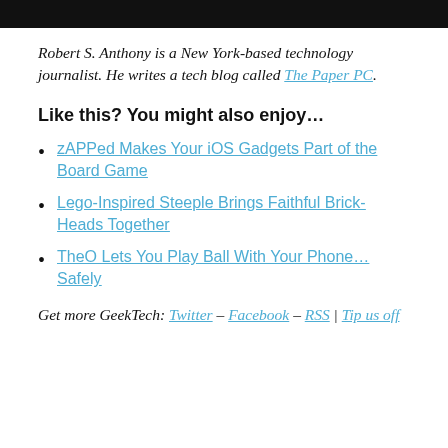Robert S. Anthony is a New York-based technology journalist. He writes a tech blog called The Paper PC.
Like this? You might also enjoy…
zAPPed Makes Your iOS Gadgets Part of the Board Game
Lego-Inspired Steeple Brings Faithful Brick-Heads Together
TheO Lets You Play Ball With Your Phone… Safely
Get more GeekTech: Twitter – Facebook – RSS | Tip us off